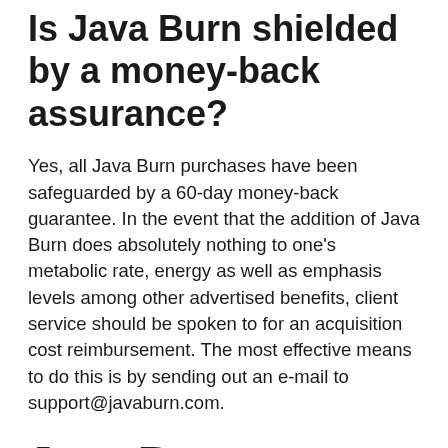Is Java Burn shielded by a money-back assurance?
Yes, all Java Burn purchases have been safeguarded by a 60-day money-back guarantee. In the event that the addition of Java Burn does absolutely nothing to one's metabolic rate, energy as well as emphasis levels among other advertised benefits, client service should be spoken to for an acquisition cost reimbursement. The most effective means to do this is by sending out an e-mail to support@javaburn.com.
Java Burn Availability as well as Rates.